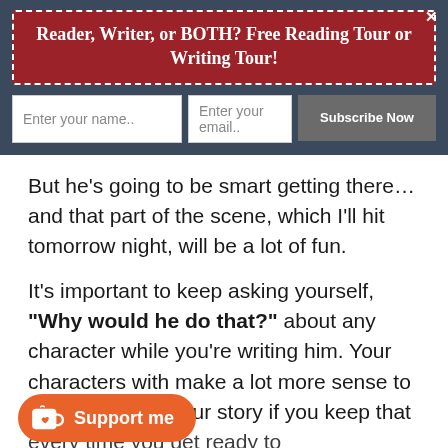Reader, Writer, or BOTH? Free Reading Tour or Writing Tour!
Enter your name..
Enter your email..
Subscribe Now
But he's going to be smart getting there…and that part of the scene, which I'll hit tomorrow night, will be a lot of fun.
It's important to keep asking yourself, "Why would he do that?" about any character while you're writing him. Your characters with make a lot more sense to the reader and your story if you keep that [question in mind] every time you get ready to have a character do something. Sound-Ketten from
[Figure (other): Support me button with Ko-fi cup icon in orange rounded rectangle]